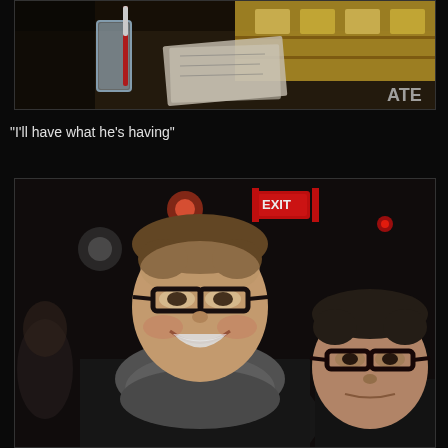[Figure (photo): Top-down view of a bar or restaurant table showing a glass of water with a red straw, papers/menus, and illuminated yellow/gold bar area in the background. Partial text 'ATE' visible on right side.]
"I'll have what he's having"
[Figure (photo): Two young men posing together in a dark bar/club setting. The man on the left is taller with brown hair, wearing glasses and a grey scarf, smiling at the camera. The man on the right has short dark hair and glasses. An EXIT sign is visible in the background glowing red.]